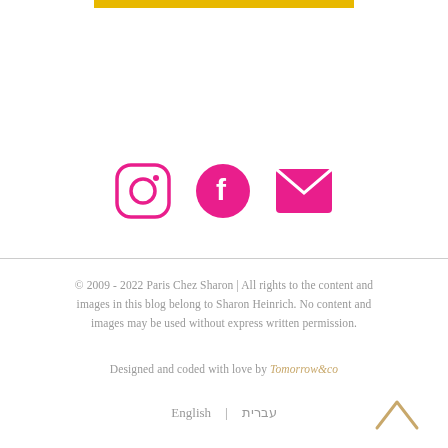[Figure (other): Gold/yellow horizontal bar at top center of page]
[Figure (other): Three social media icons in pink/magenta: Instagram (circle outline with inner circle and square), Facebook (filled circle with f), and Email (filled envelope shape)]
© 2009 - 2022 Paris Chez Sharon | All rights to the content and images in this blog belong to Sharon Heinrich. No content and images may be used without express written permission.
Designed and coded with love by Tomorrow&co
English | עברית